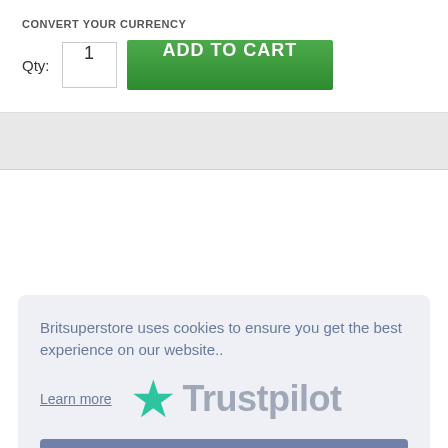CONVERT YOUR CURRENCY
Qty: 1  ADD TO CART
[Figure (screenshot): Cookie consent overlay showing Trustpilot logo with star, text about cookies, Learn more link, and Got it! button]
Britsuperstore uses cookies to ensure you get the best experience on our website..
Learn more
Trustpilot
Got it!